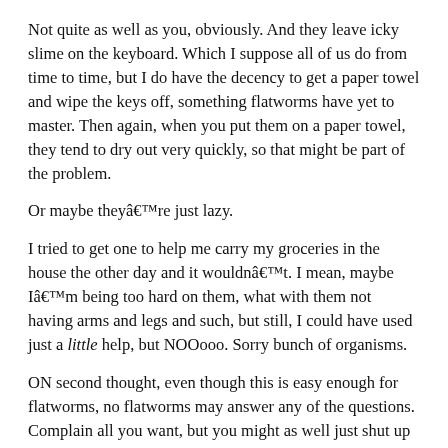Not quite as well as you, obviously. And they leave icky slime on the keyboard. Which I suppose all of us do from time to time, but I do have the decency to get a paper towel and wipe the keys off, something flatworms have yet to master. Then again, when you put them on a paper towel, they tend to dry out very quickly, so that might be part of the problem.
Or maybe theyâ€™re just lazy.
I tried to get one to help me carry my groceries in the house the other day and it wouldnâ€™t. I mean, maybe Iâ€™m being too hard on them, what with them not having arms and legs and such, but still, I could have used just a little help, but NOOooo. Sorry bunch of organisms.
ON second thought, even though this is easy enough for flatworms, no flatworms may answer any of the questions. Complain all you want, but you might as well just shut up and let someone with fingers handle this one!
Where was I?